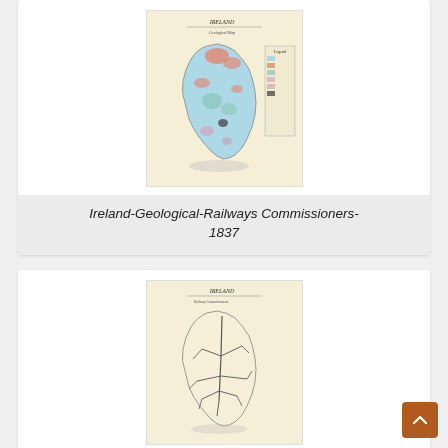[Figure (map): Geological map of Ireland with colored regions showing geological features, published by Railway Commissioners, 1837]
Ireland-Geological-Railways Commissioners-1837
[Figure (map): Railway map of Ireland showing railway routes as lines across the country, published by Railway Commissioners, 1837]
Ireland-Railway Commissioners-Public Commissioners-1837